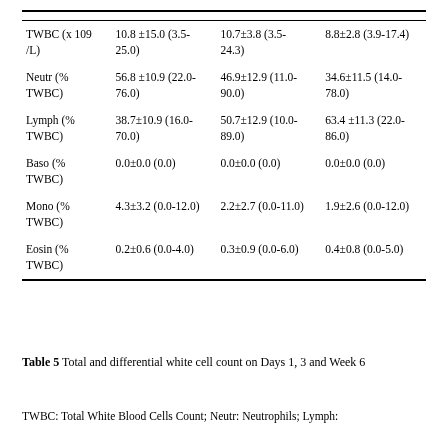|  | ( __ g ) | ( __ g ) | ( __ g ) |
| --- | --- | --- | --- |
| TWBC (x 109/L) | 10.8 ±15.0 (3.5-25.0) | 10.7±3.8 (3.5-24.3) | 8.8±2.8 (3.9-17.4) |
| Neutr (% TWBC) | 56.8 ±10.9 (22.0-76.0) | 46.9±12.9 (11.0-90.0) | 34.6±11.5 (14.0-78.0) |
| Lymph (% TWBC) | 38.7±10.9 (16.0-70.0) | 50.7±12.9 (10.0-89.0) | 63.4 ±11.3 (22.0-86.0) |
| Baso (% TWBC) | 0.0±0.0 (0.0) | 0.0±0.0 (0.0) | 0.0±0.0 (0.0) |
| Mono (% TWBC) | 4.3±3.2 (0.0-12.0) | 2.2±2.7 (0.0-11.0) | 1.9±2.6 (0.0-12.0) |
| Eosin (% TWBC) | 0.2±0.6 (0.0-4.0) | 0.3±0.9 (0.0-6.0) | 0.4±0.8 (0.0-5.0) |
Table 5 Total and differential white cell count on Days 1, 3 and Week 6
TWBC: Total White Blood Cells Count; Neutr: Neutrophils; Lymph: